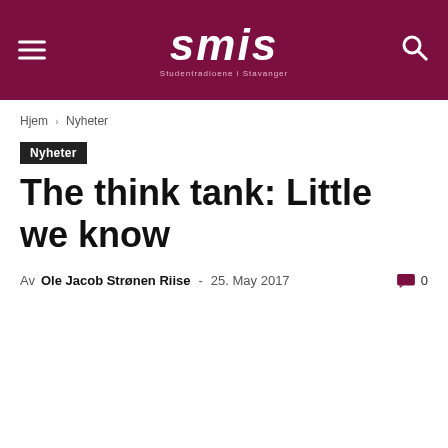smis — Studentradioene i Stavanger
Hjem › Nyheter
Nyheter
The think tank: Little we know
Av Ole Jacob Strønen Riise - 25. May 2017  0